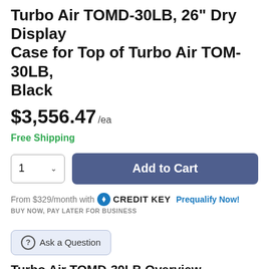Turbo Air TOMD-30LB, 26" Dry Display Case for Top of Turbo Air TOM-30LB, Black
$3,556.47 /ea
Free Shipping
1 [dropdown] Add to Cart
From $329/month with CREDIT KEY Prequalify Now!
BUY NOW, PAY LATER FOR BUSINESS
Ask a Question
Turbo Air TOMD-30LB Overview